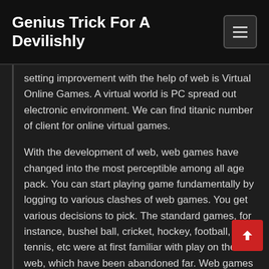Genius Trick For A Devilishly
setting improvement with the help of web is Virtual Online Games. A virtual world is PC spread out electronic environment. We can find titanic number of client for online virtual games.
With the development of web, web games have changed into the most perceptible among all age pack. You can start playing game fundamentally by logging to various clashes of web games. You get various decisions to pick. The standard games, for instance, bushel ball, cricket, hockey, football, tennis, etc were at first familiar with play on the web, which have been abandoned far. Web games are as of now ending up being successfully enchanting and marvelous as you are Indian Matka playing the game verifiably. These games come in various classes like 3D